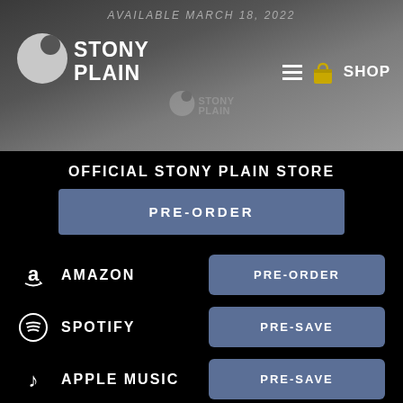AVAILABLE MARCH 18, 2022
[Figure (logo): Stony Plain Records logo - white text with circle graphic, top left of header]
[Figure (logo): Stony Plain Records small center logo in header]
SHOP
OFFICIAL STONY PLAIN STORE
PRE-ORDER
AMAZON PRE-ORDER
SPOTIFY PRE-SAVE
APPLE MUSIC PRE-SAVE
ITUNES PRE-ORDER